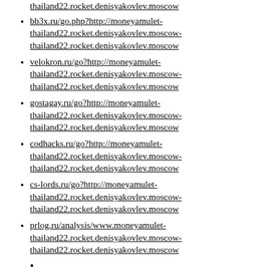thailand22.rocket.denisyakovlev.moscow (partial, top)
bb3x.ru/go.php?http://moneyamulet-thailand22.rocket.denisyakovlev.moscow-thailand22.rocket.denisyakovlev.moscow
velokron.ru/go?http://moneyamulet-thailand22.rocket.denisyakovlev.moscow-thailand22.rocket.denisyakovlev.moscow
gostagay.ru/go?http://moneyamulet-thailand22.rocket.denisyakovlev.moscow-thailand22.rocket.denisyakovlev.moscow
codhacks.ru/go?http://moneyamulet-thailand22.rocket.denisyakovlev.moscow-thailand22.rocket.denisyakovlev.moscow
cs-lords.ru/go?http://moneyamulet-thailand22.rocket.denisyakovlev.moscow-thailand22.rocket.denisyakovlev.moscow
prlog.ru/analysis/www.moneyamulet-thailand22.rocket.denisyakovlev.moscow-thailand22.rocket.denisyakovlev.moscow
(partial bottom item)